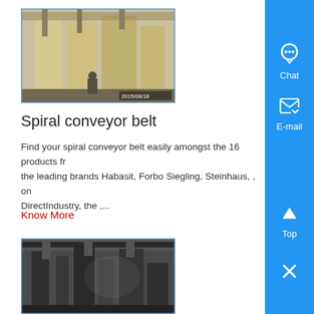[Figure (photo): Industrial facility interior with large silos or storage tanks, pipe systems overhead, dated 2015/08/18]
Spiral conveyor belt
Find your spiral conveyor belt easily amongst the 16 products from the leading brands Habasit, Forbo Siegling, Steinhaus, , on DirectIndustry, the ,...
Know More
[Figure (photo): Industrial facility interior showing conveyor or processing equipment in a warehouse setting]